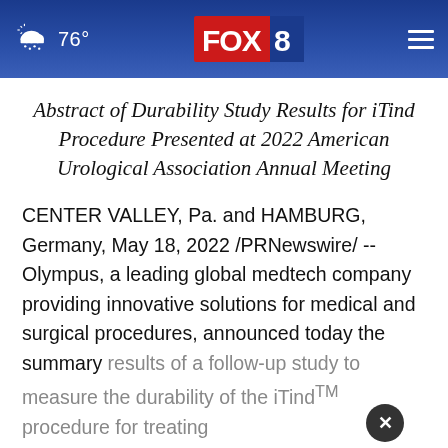76° FOX 8
Abstract of Durability Study Results for iTind Procedure Presented at 2022 American Urological Association Annual Meeting
CENTER VALLEY, Pa. and HAMBURG, Germany, May 18, 2022 /PRNewswire/ -- Olympus, a leading global medtech company providing innovative solutions for medical and surgical procedures, announced today the summary results of a follow-up study to measure the durability of the iTind™ procedure for treating